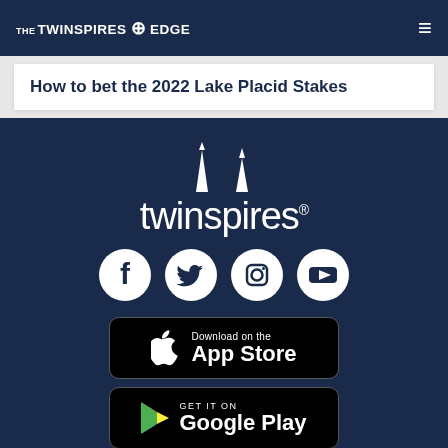THE TWINSPIRES EDGE
How to bet the 2022 Lake Placid Stakes
[Figure (logo): TwinSpires logo with twin spire icons above the wordmark 'twinspires' with registration mark]
[Figure (infographic): Social media icons row: Facebook, Twitter, Instagram, YouTube — all white on dark navy background]
[Figure (infographic): Download on the App Store button]
[Figure (infographic): GET IT ON Google Play button]